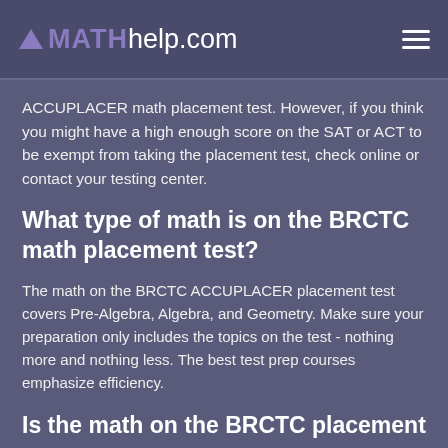MATHhelp.com
ACCUPLACER math placement test. However, if you think you might have a high enough score on the SAT or ACT to be exempt from taking the placement test, check online or contact your testing center.
What type of math is on the BRCTC math placement test?
The math on the BRCTC ACCUPLACER placement test covers Pre-Algebra, Algebra, and Geometry. Make sure your preparation only includes the topics on the test - nothing more and nothing less. The best test prep courses emphasize efficiency.
Is the math on the BRCTC placement